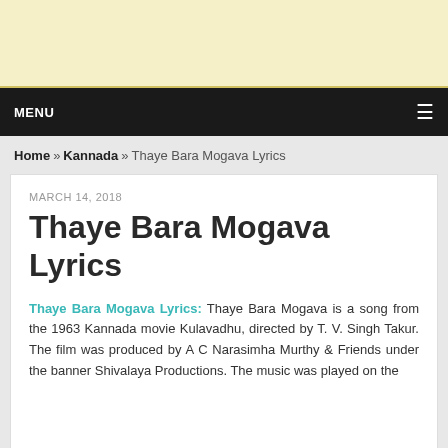[Figure (other): Advertisement banner with pale yellow background]
MENU ≡
Home » Kannada » Thaye Bara Mogava Lyrics
MARCH 14, 2018
Thaye Bara Mogava Lyrics
Thaye Bara Mogava Lyrics: Thaye Bara Mogava is a song from the 1963 Kannada movie Kulavadhu, directed by T. V. Singh Takur. The film was produced by A C Narasimha Murthy & Friends under the banner Shivalaya Productions. The music was played on the